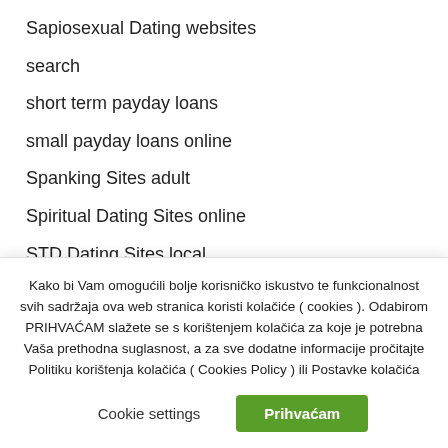Sapiosexual Dating websites
search
short term payday loans
small payday loans online
Spanking Sites adult
Spiritual Dating Sites online
STD Dating Sites local
Straight Dating adult
Kako bi Vam omogućili bolje korisničko iskustvo te funkcionalnost svih sadržaja ova web stranica koristi kolačiće ( cookies ). Odabirom PRIHVAĆAM slažete se s korištenjem kolačića za koje je potrebna Vaša prethodna suglasnost, a za sve dodatne informacije pročitajte Politiku korištenja kolačića ( Cookies Policy ) ili Postavke kolačića
Cookie settings
Prihvaćam